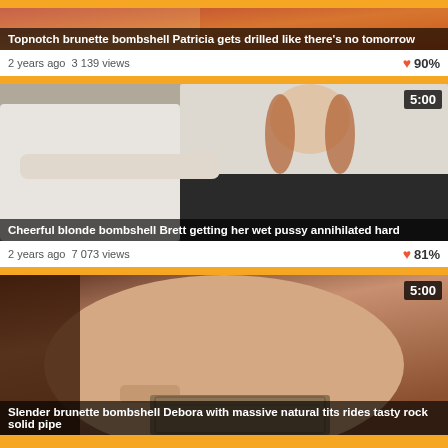[Figure (screenshot): Video thumbnail 1 - top of page, partially cropped]
Topnotch brunette bombshell Patricia gets drilled like there's no tomorrow
2 years ago  3 139 views   90%
[Figure (screenshot): Video thumbnail 2 - two people in bus scene, duration 5:00]
Cheerful blonde bombshell Brett getting her wet pussy annihilated hard
2 years ago  7 073 views   81%
[Figure (screenshot): Video thumbnail 3 - close-up scene, duration 5:00]
Slender brunette bombshell Debora with massive natural tits rides tasty rock solid pipe